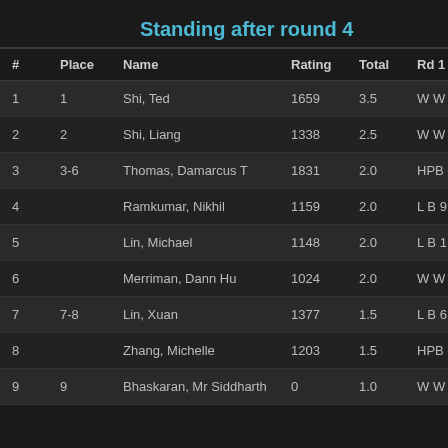Standing after round 4
| # | Place | Name | Rating | Total | Rd 1 |
| --- | --- | --- | --- | --- | --- |
| 1 | 1 | Shi, Ted | 1659 | 3.5 | W W 5 |
| 2 | 2 | Shi, Liang | 1338 | 2.5 | W W 1 |
| 3 | 3-6 | Thomas, Damarcus T | 1831 | 2.0 | HPB - |
| 4 |  | Ramkumar, Nikhil | 1159 | 2.0 | L B 9 |
| 5 |  | Lin, Michael | 1148 | 2.0 | L B 1 |
| 6 |  | Merriman, Dann Hu | 1024 | 2.0 | W W 7 |
| 7 | 7-8 | Lin, Xuan | 1377 | 1.5 | L B 6 |
| 8 |  | Zhang, Michelle | 1203 | 1.5 | HPB - |
| 9 | 9 | Bhaskaran, Mr Siddharth | 0 | 1.0 | W W 4 |